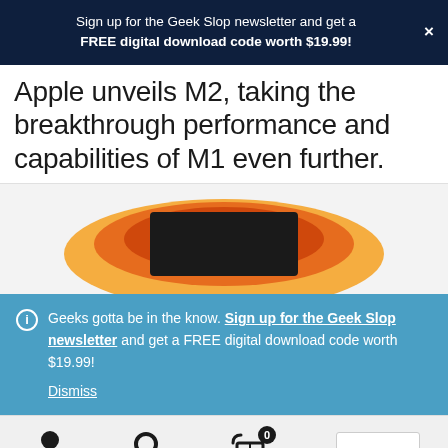Sign up for the Geek Slop newsletter and get a FREE digital download code worth $19.99!
Apple unveils M2, taking the breakthrough performance and capabilities of M1 even further.
[Figure (photo): Apple M2 chip promotional image with glowing orange/red halo effect against white background]
Geeks gotta be in the know. Sign up for the Geek Slop newsletter and get a FREE digital download code worth $19.99! Dismiss
Navigation bar with account, search, and cart (0) icons